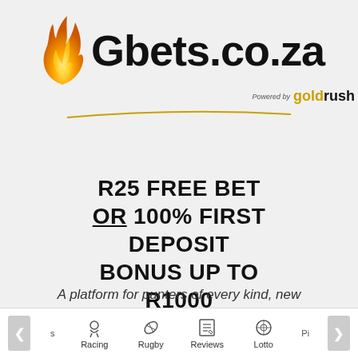[Figure (logo): Gbets.co.za logo with a flame icon on the left and bold text 'Gbets.co.za' on the right, with 'Powered by GoldRush' tagline and a curved gold line underneath]
R25 FREE BET OR 100% FIRST DEPOSIT BONUS UP TO R1000
A platform for punters of every kind, new
s   Racing   Rugby   Reviews   Lotto   Pi